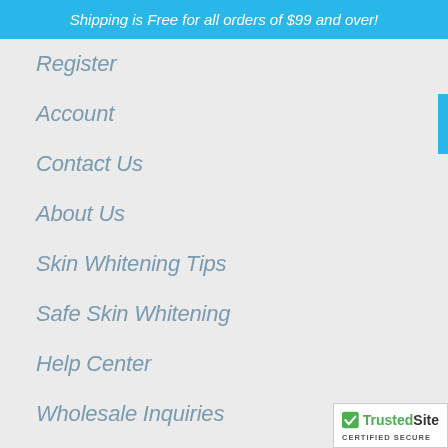Shipping is Free for all orders of $99 and over!
Register
Account
Contact Us
About Us
Skin Whitening Tips
Safe Skin Whitening
Help Center
Wholesale Inquiries
Which Product is Right for You
Reviews
[Figure (logo): TrustedSite Certified Secure badge]